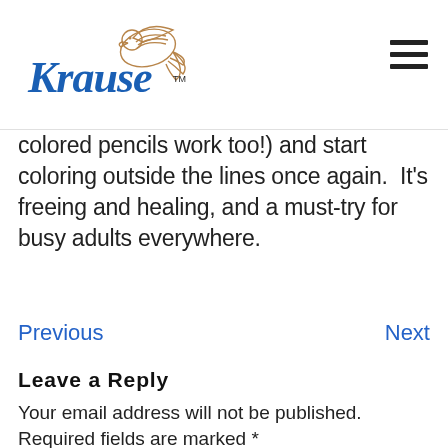[Figure (logo): Krause publisher logo with a dove illustration and cursive 'Krause' wordmark with TM symbol]
colored pencils work too!) and start coloring outside the lines once again.  It's freeing and healing, and a must-try for busy adults everywhere.
Previous
Next
Leave a Reply
Your email address will not be published. Required fields are marked *